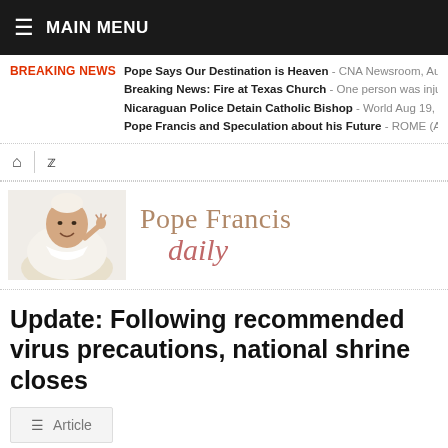≡ MAIN MENU
BREAKING NEWS  Pope Says Our Destination is Heaven - CNA Newsroom, Aug  Breaking News: Fire at Texas Church - One person was inju  Nicaraguan Police Detain Catholic Bishop - World Aug 19, 2  Pope Francis and Speculation about his Future - ROME (A
[Figure (logo): Pope Francis Daily logo with image of Pope Francis waving and text 'Pope Francis daily' in beige/rose serif font]
Update: Following recommended virus precautions, national shrine closes
≡ Article